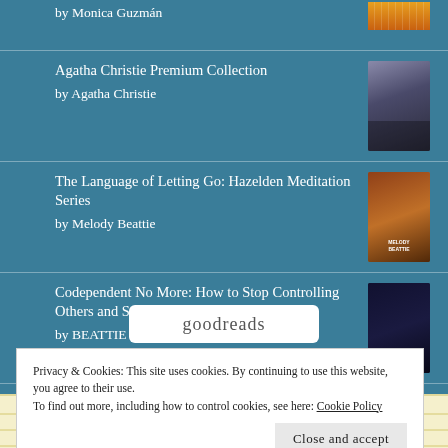by Monica Guzmán
Agatha Christie Premium Collection
by Agatha Christie
The Language of Letting Go: Hazelden Meditation Series
by Melody Beattie
Codependent No More: How to Stop Controlling Others and Start Caring for Yourself
by BEATTIE MELODY
[Figure (screenshot): Goodreads logo/banner in white rounded rectangle]
Privacy & Cookies: This site uses cookies. By continuing to use this website, you agree to their use.
To find out more, including how to control cookies, see here: Cookie Policy
Close and accept